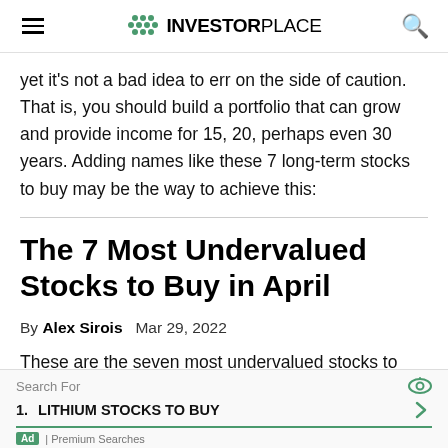INVESTORPLACE
yet it's not a bad idea to err on the side of caution. That is, you should build a portfolio that can grow and provide income for 15, 20, perhaps even 30 years. Adding names like these 7 long-term stocks to buy may be the way to achieve this:
The 7 Most Undervalued Stocks to Buy in April
By Alex Sirois   Mar 29, 2022
These are the seven most undervalued stocks to consider purchasing as we head into April in consideration of a
Search For
1. LITHIUM STOCKS TO BUY
Ad | Premium Searches